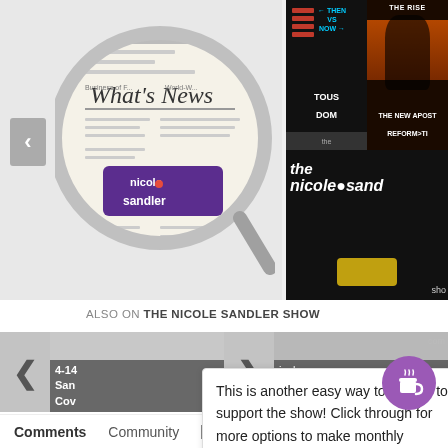[Figure (screenshot): Carousel showing Nicole Sandler Show thumbnails. Left: magnifying glass over newspaper with 'What's News' and Nicole Sandler logo. Right: two thumbnails - THEN VS NOW / TOUS DOM and THE RISE / NEW APOSTOLIC REFORMATION on top, the nicole sandler show bottom.]
ALSO ON THE NICOLE SANDLER SHOW
[Figure (screenshot): Second carousel row with navigation arrows, two greyed-out thumbnails. Left shows label '4-14 San Cov', right shows 'icole Show super . com'. Navigation left and right arrows visible.]
This is another easy way to donate to support the show! Click through for more options to make monthly donations.
[Figure (illustration): Purple circular button with coffee cup icon (Buy Me a Coffee style)]
Comments   Community   Login